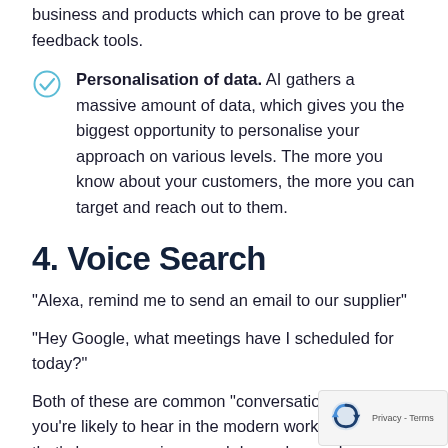business and products which can prove to be great feedback tools.
Personalisation of data. AI gathers a massive amount of data, which gives you the biggest opportunity to personalise your approach on various levels. The more you know about your customers, the more you can target and reach out to them.
4. Voice Search
“Alexa, remind me to send an email to our supplier”
“Hey Google, what meetings have I scheduled for today?”
Both of these are common “conversations” that you’re likely to hear in the modern workplace. And that’s because voice search has advanced immensely ov past decade.